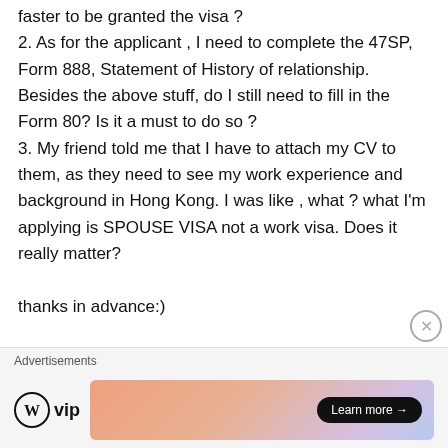faster to be granted the visa ? 2. As for the applicant , I need to complete the 47SP, Form 888, Statement of History of relationship. Besides the above stuff, do I still need to fill in the Form 80? Is it a must to do so ? 3. My friend told me that I have to attach my CV to them, as they need to see my work experience and background in Hong Kong. I was like , what ? what I'm applying is SPOUSE VISA not a work visa. Does it really matter?
thanks in advance:)
Like
Advertisements
[Figure (logo): WordPress VIP logo and advertisement banner with Learn more button]